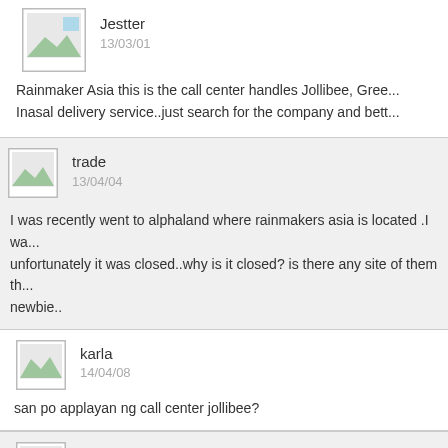[Figure (illustration): User avatar placeholder for Jestter]
Jestter
13/03/01
Rainmaker Asia this is the call center handles Jollibee, Gree... Inasal delivery service..just search for the company and bett...
[Figure (illustration): User avatar placeholder for trade]
trade
13/04/04
I was recently went to alphaland where rainmakers asia is located .I wa... unfortunately it was closed..why is it closed? is there any site of them th... newbie..
[Figure (illustration): User avatar placeholder for karla]
karla
14/04/08
san po applayan ng call center jollibee?
[Figure (illustration): User avatar placeholder for Jess]
Jess
14/04/29